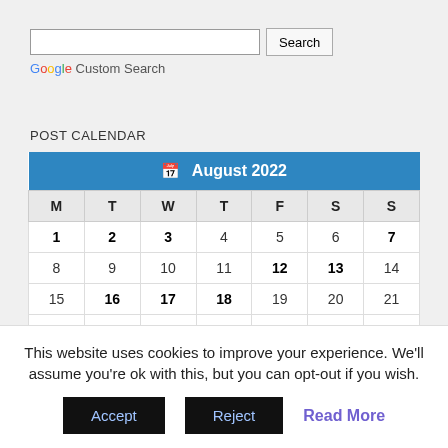[Figure (other): Google Custom Search widget with a text input field and Search button]
POST CALENDAR
| M | T | W | T | F | S | S |
| --- | --- | --- | --- | --- | --- | --- |
| 1 | 2 | 3 | 4 | 5 | 6 | 7 |
| 8 | 9 | 10 | 11 | 12 | 13 | 14 |
| 15 | 16 | 17 | 18 | 19 | 20 | 21 |
| 22 | 23 | 24 | 25 | 26 | 27 | 28 |
This website uses cookies to improve your experience. We'll assume you're ok with this, but you can opt-out if you wish.
Accept  Reject  Read More